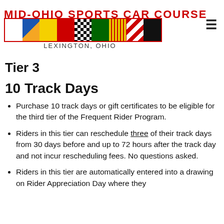MID-OHIO SPORTS CAR COURSE
[Figure (illustration): Racing flags banner with multiple colored flag segments: white, blue/orange diagonal, yellow, red, checkered, green, yellow with red stripes, white with red diagonal stripes, black]
LEXINGTON, OHIO
Tier 3
10 Track Days
Purchase 10 track days or gift certificates to be eligible for the third tier of the Frequent Rider Program.
Riders in this tier can reschedule three of their track days from 30 days before and up to 72 hours after the track day and not incur rescheduling fees. No questions asked.
Riders in this tier are automatically entered into a drawing on Rider Appreciation Day where they